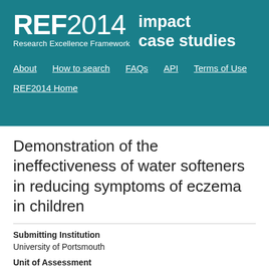REF2014 impact case studies — Research Excellence Framework — Navigation: About, How to search, FAQs, API, Terms of Use — REF2014 Home
Demonstration of the ineffectiveness of water softeners in reducing symptoms of eczema in children
Submitting Institution
University of Portsmouth
Unit of Assessment